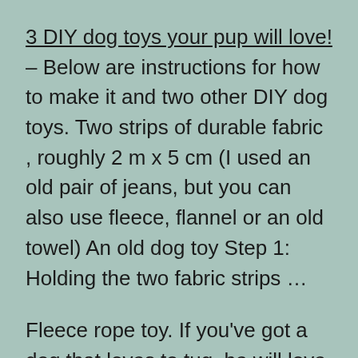3 DIY dog toys your pup will love! – Below are instructions for how to make it and two other DIY dog toys. Two strips of durable fabric , roughly 2 m x 5 cm (I used an old pair of jeans, but you can also use fleece, flannel or an old towel) An old dog toy Step 1: Holding the two fabric strips …
Fleece rope toy. If you've got a dog that loves to tug, he will love this sturdy rope toy from HGTV. It's made from fleece so it's more comfortable to hold than a lot of the store-bought brands, but will still hold up to your demanding chewing and tugging champions.